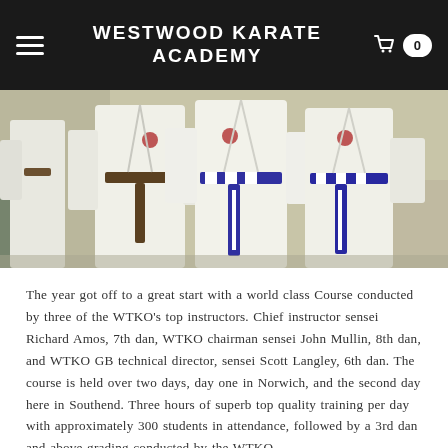WESTWOOD KARATE ACADEMY
[Figure (photo): Group of karate students in white gi uniforms wearing brown and purple/white belts, standing in a line. Photo cropped to show bodies from chest to knees.]
The year got off to a great start with a world class Course conducted by three of the WTKO's top instructors. Chief instructor sensei Richard Amos, 7th dan, WTKO chairman sensei John Mullin, 8th dan, and WTKO GB technical director, sensei Scott Langley, 6th dan. The course is held over two days, day one in Norwich, and the second day here in Southend. Three hours of superb top quality training per day with approximately 300 students in attendance, followed by a 3rd dan and above grading conducted by the WTKO...